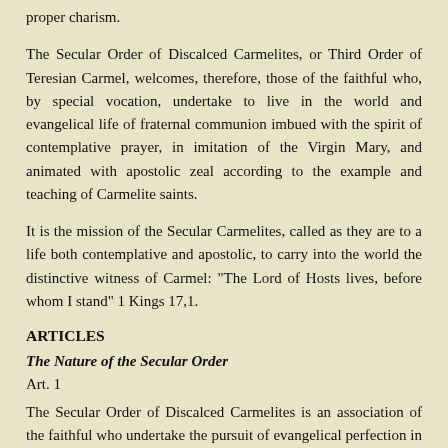proper charism.
The Secular Order of Discalced Carmelites, or Third Order of Teresian Carmel, welcomes, therefore, those of the faithful who, by special vocation, undertake to live in the world and evangelical life of fraternal communion imbued with the spirit of contemplative prayer, in imitation of the Virgin Mary, and animated with apostolic zeal according to the example and teaching of Carmelite saints.
It is the mission of the Secular Carmelites, called as they are to a life both contemplative and apostolic, to carry into the world the distinctive witness of Carmel: "The Lord of Hosts lives, before whom I stand" 1 Kings 17,1.
ARTICLES
The Nature of the Secular Order
Art. 1
The Secular Order of Discalced Carmelites is an association of the faithful who undertake the pursuit of evangelical perfection in the world. The